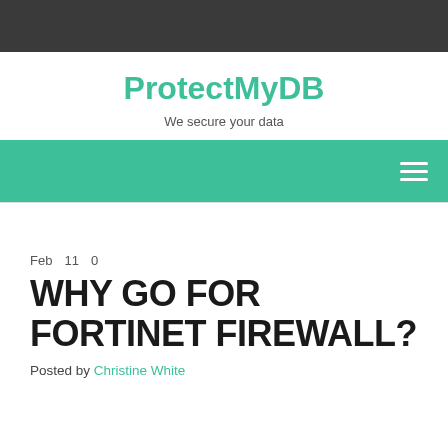ProtectMyDB
We secure your data
[Figure (other): Green navigation bar with hamburger menu icon on the right]
Feb  11  0
WHY GO FOR FORTINET FIREWALL?
Posted by Christine White